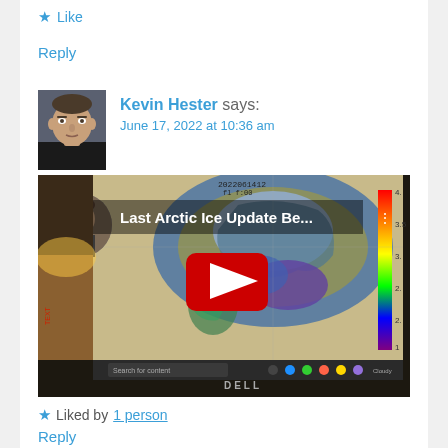★ Like
Reply
Kevin Hester says:
June 17, 2022 at 10:36 am
[Figure (screenshot): YouTube video thumbnail showing 'Last Arctic Ice Update Be...' with a polar map and red play button, displayed on a Dell monitor]
★ Liked by 1 person
Reply